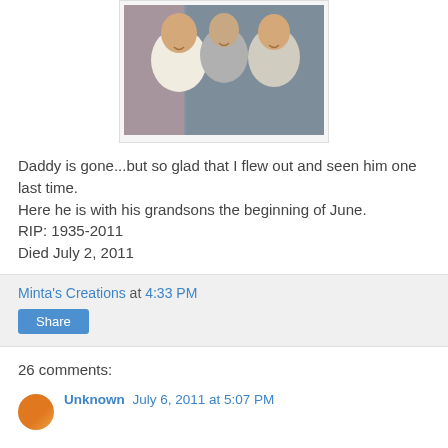[Figure (photo): Photo of a man with two young boys, all smiling and hugging, partial view at top of page]
Daddy is gone...but so glad that I flew out and seen him one last time.
Here he is with his grandsons the beginning of June.
RIP: 1935-2011
Died July 2, 2011
Minta's Creations at 4:33 PM
Share
26 comments:
Unknown July 6, 2011 at 5:07 PM